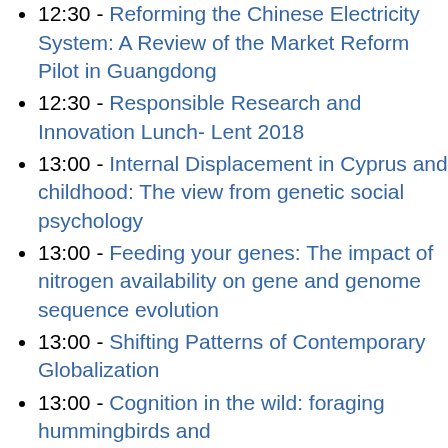cell factories
12:30 - Reforming the Chinese Electricity System: A Review of the Market Reform Pilot in Guangdong
12:30 - Responsible Research and Innovation Lunch- Lent 2018
13:00 - Internal Displacement in Cyprus and childhood: The view from genetic social psychology
13:00 - Feeding your genes: The impact of nitrogen availability on gene and genome sequence evolution
13:00 - Shifting Patterns of Contemporary Globalization
13:00 - Cognition in the wild: foraging hummingbirds and